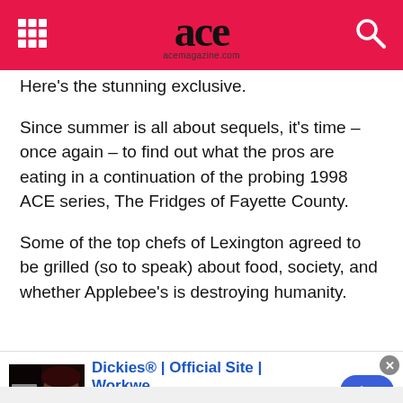ace acemagazine.com
Here’s the stunning exclusive.
Since summer is all about sequels, it’s time – once again – to find out what the pros are eating in a continuation of the probing 1998 ACE series, The Fridges of Fayette County.
Some of the top chefs of Lexington agreed to be grilled (so to speak) about food, society, and whether Applebee’s is destroying humanity.
[Figure (photo): Photo of an open refrigerator interior viewed from below, showing shelves and contents]
infolinks
Dickies® | Official Site | Workwe... for work pants, work shirts, overalls, and coveralls.